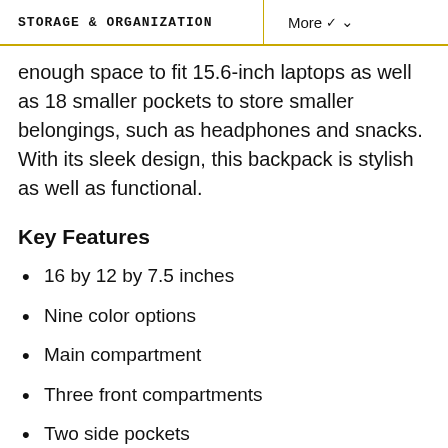STORAGE & ORGANIZATION    More
enough space to fit 15.6-inch laptops as well as 18 smaller pockets to store smaller belongings, such as headphones and snacks. With its sleek design, this backpack is stylish as well as functional.
Key Features
16 by 12 by 7.5 inches
Nine color options
Main compartment
Three front compartments
Two side pockets
Back pocket